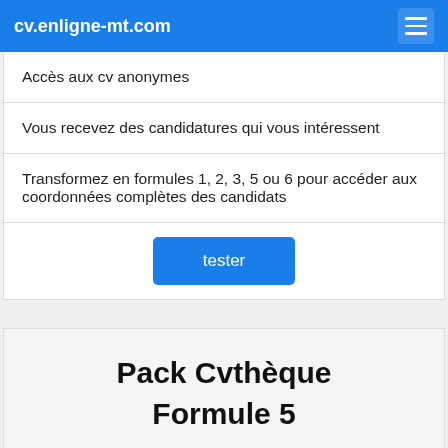cv.enligne-mt.com
Accès aux cv anonymes
Vous recevez des candidatures qui vous intéressent
Transformez en formules 1, 2, 3, 5 ou 6 pour accéder aux coordonnées complètes des candidats
tester
Pack Cvthèque Formule 5